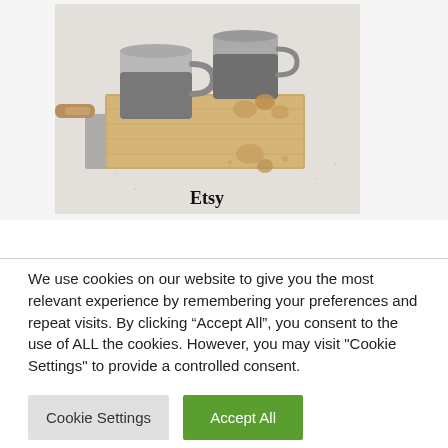[Figure (photo): Two gray ceramic mugs on a wooden cutting board with cookies and a gray cloth napkin on a white textured surface, with text 'Etsy' overlaid at the bottom]
Etsy
We use cookies on our website to give you the most relevant experience by remembering your preferences and repeat visits. By clicking “Accept All”, you consent to the use of ALL the cookies. However, you may visit "Cookie Settings" to provide a controlled consent.